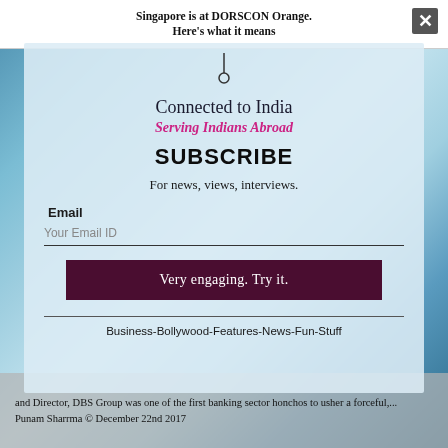Singapore is at DORSCON Orange. Here's what it means
[Figure (screenshot): Modal subscription popup overlay on a background image of a blue glass building interior. Contains a pin/location icon at top, headline text, subscribe call to action, email input field, and a dark maroon button.]
Connected to India
Serving Indians Abroad
SUBSCRIBE
For news, views, interviews.
Email
Your Email ID
Very engaging. Try it.
Business-Bollywood-Features-News-Fun-Stuff
and Director, DBS Group was one of the first banking sector honchos to usher a forceful,...
Punam Sharrma © December 22nd 2017